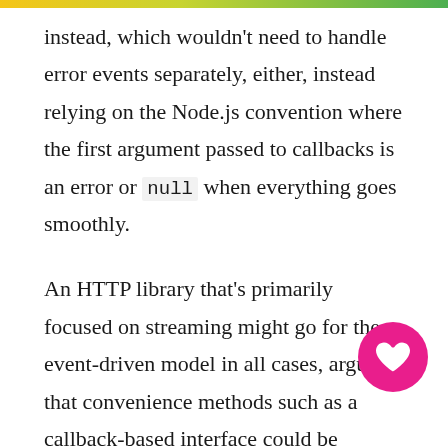instead, which wouldn't need to handle error events separately, either, instead relying on the Node.js convention where the first argument passed to callbacks is an error or null when everything goes smoothly.
An HTTP library that's primarily focused on streaming might go for the event-driven model in all cases, arguing that convenience methods such as a callback-based interface could be implemented on top of their primitive interface. This is acceptable, we're focusing on the use case at hand and keeping our API surface as small as possible, while still allowing our library to be wrapped for higher-level consumption. If our library was primarily